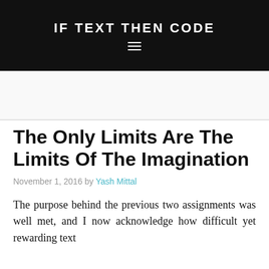IF TEXT THEN CODE
The Only Limits Are The Limits Of The Imagination
November 1, 2016 by Yash Mittal
The purpose behind the previous two assignments was well met, and I now acknowledge how difficult yet rewarding text